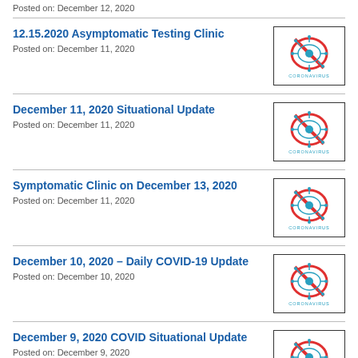Posted on: December 12, 2020
12.15.2020 Asymptomatic Testing Clinic
Posted on: December 11, 2020
December 11, 2020 Situational Update
Posted on: December 11, 2020
Symptomatic Clinic on December 13, 2020
Posted on: December 11, 2020
December 10, 2020 – Daily COVID-19 Update
Posted on: December 10, 2020
December 9, 2020 COVID Situational Update
Posted on: December 9, 2020